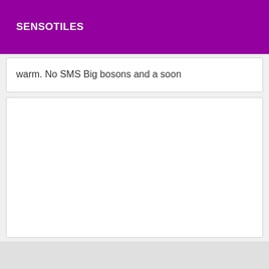SENSOTILES
warm. No SMS Big bosons and a soon